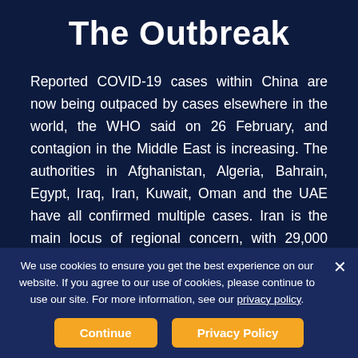The Outbreak
Reported COVID-19 cases within China are now being outpaced by cases elsewhere in the world, the WHO said on 26 February, and contagion in the Middle East is increasing. The authorities in Afghanistan, Algeria, Bahrain, Egypt, Iraq, Iran, Kuwait, Oman and the UAE have all confirmed multiple cases. Iran is the main locus of regional concern, with 29,000 officially
We use cookies to ensure you get the best experience on our website. If you agree to our use of cookies, please continue to use our site. For more information, see our privacy policy.